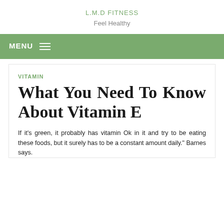L.M.D FITNESS
Feel Healthy
MENU ≡
VITAMIN
What You Need To Know About Vitamin E
If it's green, it probably has vitamin Ok in it and try to be eating these foods, but it surely has to be a constant amount daily." Barnes says.